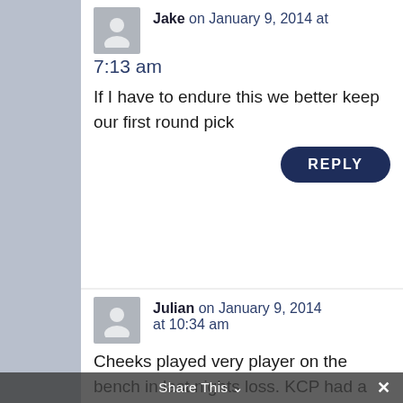Jake on January 9, 2014 at 7:13 am
If I have to endure this we better keep our first round pick
REPLY
Julian on January 9, 2014 at 10:34 am
Cheeks played very player on the bench in last nights loss. KCP had a good game. JOD will be gone if this keeps up all year long but that is what
Share This